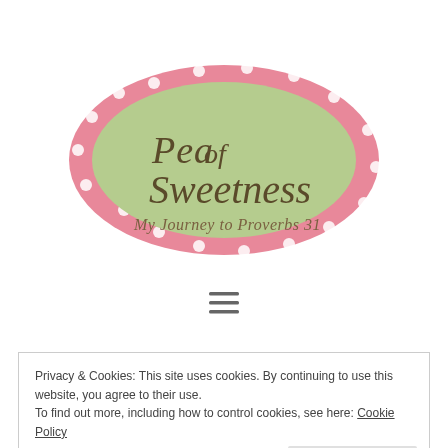[Figure (logo): Pea of Sweetness blog logo — pink oval with white polka dots border, green inner oval, text 'Pea of Sweetness My Journey to Proverbs 31' in brown/olive font]
[Figure (other): Hamburger menu icon — three horizontal lines]
Privacy & Cookies: This site uses cookies. By continuing to use this website, you agree to their use. To find out more, including how to control cookies, see here: Cookie Policy
Makit Review and Giveaway {over}